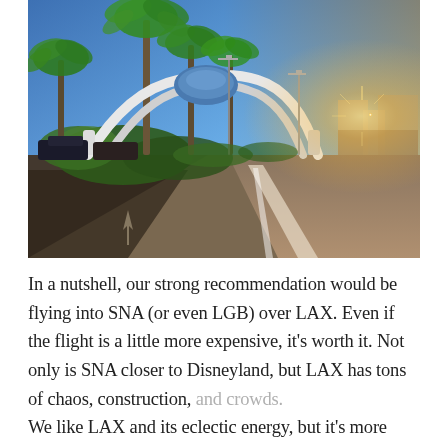[Figure (photo): Outdoor photo of LAX airport area showing the Theme Building (futuristic white arched structure) surrounded by palm trees under a bright blue sky with sun flare, with an empty road in the foreground.]
In a nutshell, our strong recommendation would be flying into SNA (or even LGB) over LAX. Even if the flight is a little more expensive, it's worth it. Not only is SNA closer to Disneyland, but LAX has tons of chaos, construction, and crowds.
We like LAX and its eclectic energy, but it's more than...